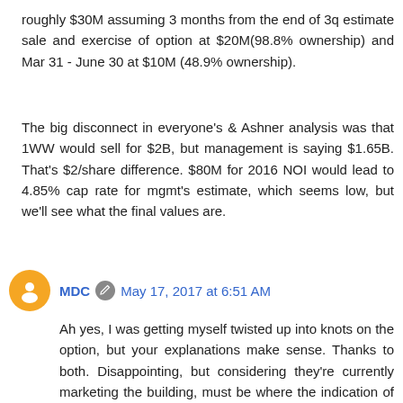roughly $30M assuming 3 months from the end of 3q estimate sale and exercise of option at $20M(98.8% ownership) and Mar 31 - June 30 at $10M (48.9% ownership).
The big disconnect in everyone's & Ashner analysis was that 1WW would sell for $2B, but management is saying $1.65B. That's $2/share difference. $80M for 2016 NOI would lead to 4.85% cap rate for mgmt's estimate, which seems low, but we'll see what the final values are.
MDC  May 17, 2017 at 6:51 AM
Ah yes, I was getting myself twisted up into knots on the option, but your explanations make sense. Thanks to both. Disappointing, but considering they're currently marketing the building, must be where the indication of interests are coming in at.